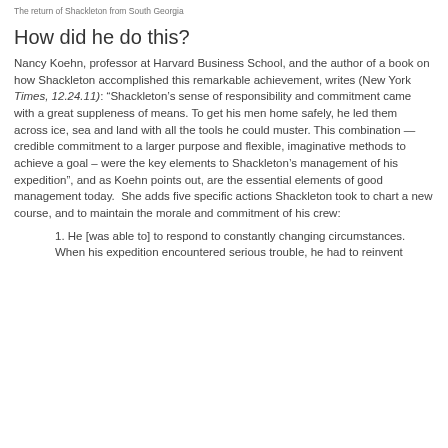The return of Shackleton from South Georgia
How did he do this?
Nancy Koehn, professor at Harvard Business School, and the author of a book on how Shackleton accomplished this remarkable achievement, writes (New York Times, 12.24.11): “Shackleton’s sense of responsibility and commitment came with a great suppleness of means. To get his men home safely, he led them across ice, sea and land with all the tools he could muster. This combination — credible commitment to a larger purpose and flexible, imaginative methods to achieve a goal – were the key elements to Shackleton’s management of his expedition”, and as Koehn points out, are the essential elements of good management today.  She adds five specific actions Shackleton took to chart a new course, and to maintain the morale and commitment of his crew:
1. He [was able to] to respond to constantly changing circumstances. When his expedition encountered serious trouble, he had to reinvent